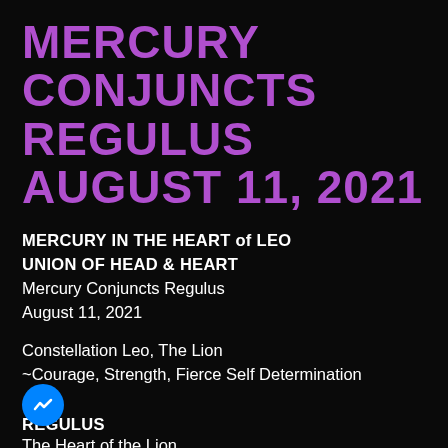MERCURY CONJUNCTS REGULUS AUGUST 11, 2021
MERCURY IN THE HEART of LEO
UNION OF HEAD & HEART
Mercury Conjuncts Regulus
August 11, 2021
Constellation Leo, The Lion
~Courage, Strength, Fierce Self Determination
REGULUS
The Heart of the Lion
*Brightest star in Leo, often called the king star and known as “the heart of the lion”
*Where you set the magnetics of your field
*Heart is “programmable” with life enhancing
[Figure (logo): Facebook Messenger blue circle icon with white lightning bolt]